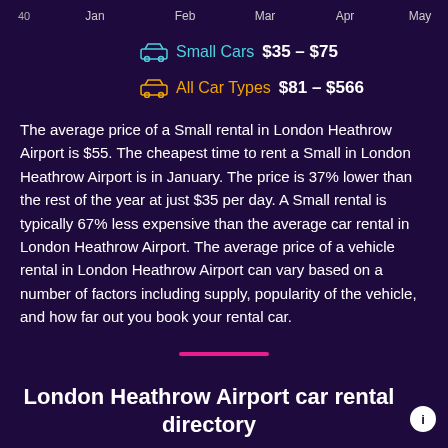[Figure (line-chart): Price chart top axis]
Small Cars $35 – $75
All Car Types $81 – $566
The average price of a Small rental in London Heathrow Airport is $55. The cheapest time to rent a Small in London Heathrow Airport is in January. The price is 37% lower than the rest of the year at just $35 per day. A Small rental is typically 67% less expensive than the average car rental in London Heathrow Airport. The average price of a vehicle rental in London Heathrow Airport can vary based on a number of factors including supply, popularity of the vehicle, and how far out you book your rental car.
London Heathrow Airport car rental directory